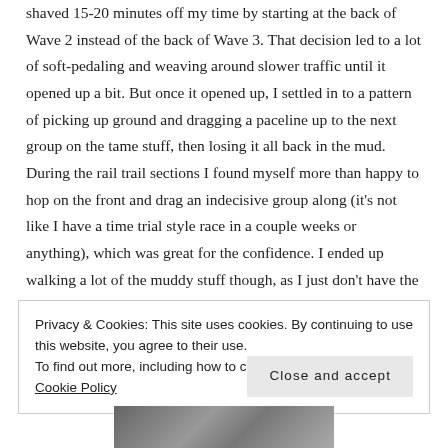shaved 15-20 minutes off my time by starting at the back of Wave 2 instead of the back of Wave 3. That decision led to a lot of soft-pedaling and weaving around slower traffic until it opened up a bit. But once it opened up, I settled in to a pattern of picking up ground and dragging a paceline up to the next group on the tame stuff, then losing it all back in the mud. During the rail trail sections I found myself more than happy to hop on the front and drag an indecisive group along (it's not like I have a time trial style race in a couple weeks or anything), which was great for the confidence. I ended up walking a lot of the muddy stuff though, as I just don't have the bike handling skills to pedal through 3 inches of mud. At the finish, I still had the legs to pass 30 people and ride the whole Martin Rd hill, and crossed the line pleased with a good hard day of training!
Privacy & Cookies: This site uses cookies. By continuing to use this website, you agree to their use.
To find out more, including how to control cookies, see here: Cookie Policy
[Figure (photo): Partial photo strip visible at bottom of page showing cyclists or outdoor scene]